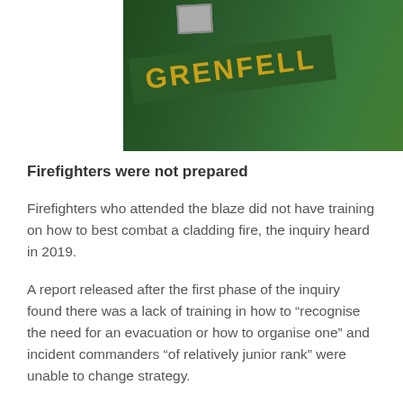[Figure (photo): Photo of Grenfell Tower memorial items including a green banner with 'GRENFELL' written in gold letters, surrounded by photographs and other memorabilia on a white surface]
Firefighters were not prepared
Firefighters who attended the blaze did not have training on how to best combat a cladding fire, the inquiry heard in 2019.
A report released after the first phase of the inquiry found there was a lack of training in how to “recognise the need for an evacuation or how to organise one” and incident commanders “of relatively junior rank” were unable to change strategy.
Sir Martin Moore-Bick, the inquiry chairman, also criticised